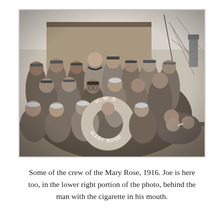[Figure (photo): Black and white photograph of crew members of the HMS Mary Rose, 1916. A group of sailors in naval uniforms are posed on the deck of a ship. In the foreground, a life preserver ring reads 'H.M.S. MARY ROSE'. The men are arranged in three rows. In the lower right, partially obscured, is Joe.]
Some of the crew of the Mary Rose, 1916. Joe is here too, in the lower right portion of the photo, behind the man with the cigarette in his mouth.